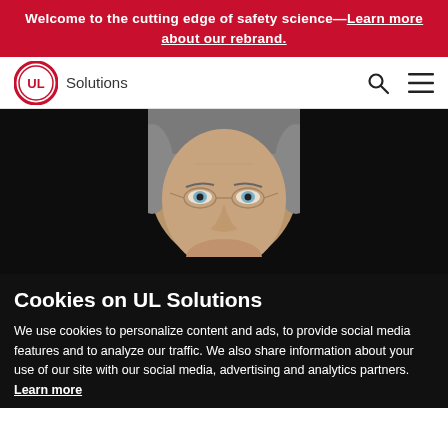Welcome to the cutting edge of safety science—Learn more about our rebrand.
[Figure (logo): UL Solutions logo with circular UL mark and 'Solutions' text, plus search and hamburger menu icons in navigation bar]
[Figure (photo): Close-up headshot of a middle-aged man with gray hair and wire-rimmed glasses against a dark background]
Cookies on UL Solutions
We use cookies to personalize content and ads, to provide social media features and to analyze our traffic. We also share information about your use of our site with our social media, advertising and analytics partners. Learn more